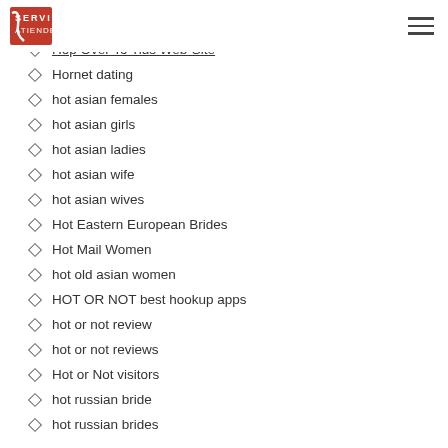SERVIO ATIENDE
Hop Over To Tids Site
Hop Over To Tids Web-Site
Hornet dating
hot asian females
hot asian girls
hot asian ladies
hot asian wife
hot asian wives
Hot Eastern European Brides
Hot Mail Women
hot old asian women
HOT OR NOT best hookup apps
hot or not review
hot or not reviews
Hot or Not visitors
hot russian bride
hot russian brides